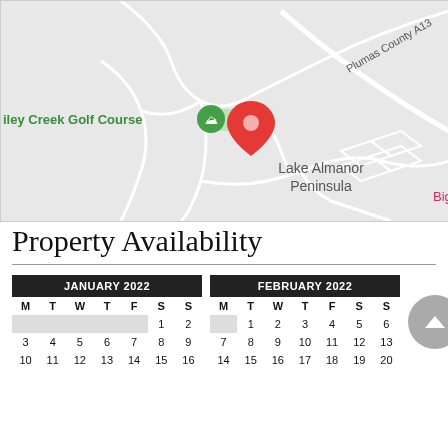[Figure (map): Google Maps screenshot showing Lake Almanor Peninsula area with a red location pin marker near Bailey Creek Golf Course. Road network visible in light gray on gray background. Labels: 'iley Creek Golf Course', 'Plumas County A13', 'Lake Almanor Peninsula', 'Big Spr']
Property Availability
| M | T | W | T | F | S | S |
| --- | --- | --- | --- | --- | --- | --- |
|  |  |  |  |  | 1 | 2 |
| 3 | 4 | 5 | 6 | 7 | 8 | 9 |
| 10 | 11 | 12 | 13 | 14 | 15 | 16 |
| M | T | W | T | F | S | S |
| --- | --- | --- | --- | --- | --- | --- |
|  | 1 | 2 | 3 | 4 | 5 | 6 |
| 7 | 8 | 9 | 10 | 11 | 12 | 13 |
| 14 | 15 | 16 | 17 | 18 | 19 | 20 |